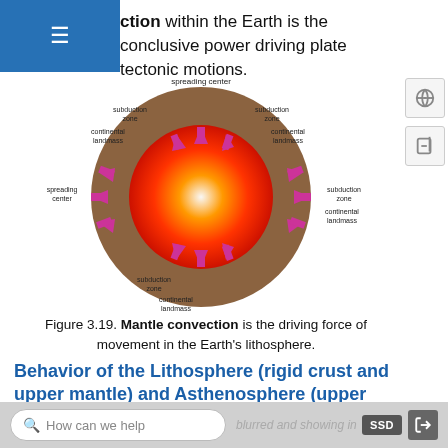ction within the Earth is the conclusive power driving plate tectonic motions.
[Figure (illustration): Diagram of mantle convection showing a cross-section of the Earth with a bright red/orange core center, surrounded by a brown mantle with pink/magenta convection arrows circulating outward. Labels indicate: spreading center (top and left), subduction zone (top-left, top-right, right, bottom), continental landmass (top-left, top-right, right, bottom).]
Figure 3.19. Mantle convection is the driving force of movement in the Earth’s lithosphere.
Behavior of the Lithosphere (rigid crust and upper mantle) and Asthenosphere (upper mantle)
Subdivisions used in geologic discussions relating to